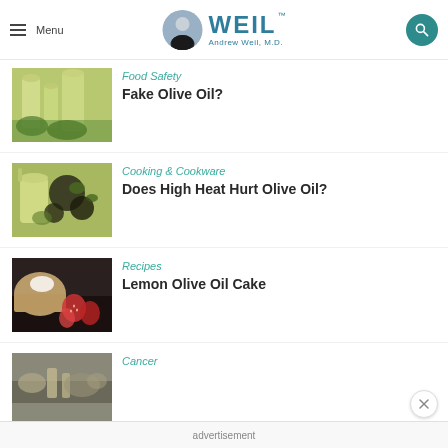Menu | WEIL Andrew Weil, M.D.
[Figure (photo): Olive oil bottles and ingredients]
Food Safety
Fake Olive Oil?
[Figure (photo): Olive oil with olives and herbs]
Cooking & Cookware
Does High Heat Hurt Olive Oil?
[Figure (photo): Lemon cake with strawberries]
Recipes
Lemon Olive Oil Cake
[Figure (photo): Olive oil and spices for cancer article]
Cancer
advertisement